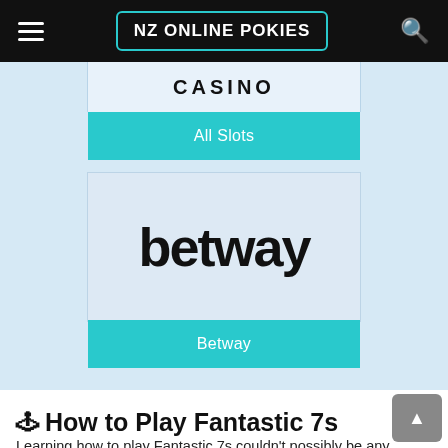NZ ONLINE POKIES
[Figure (screenshot): Casino carousel showing All Slots button, betway logo card, and Betway button on light blue background]
🕹 How to Play Fantastic 7s
Learning how to play Fantastic 7s couldn't possibly be any easier and this is an ideal game to start with if you are new to the world of NZ online pokies. The game is designed for...